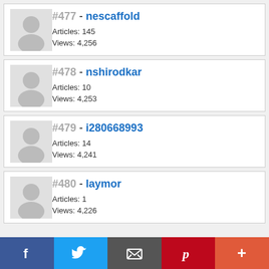[Figure (illustration): User profile card #477 - nescaffold with placeholder avatar, Articles: 145, Views: 4,256]
#477 - nescaffold
Articles: 145
Views: 4,256
[Figure (illustration): User profile card #478 - nshirodkar with placeholder avatar, Articles: 10, Views: 4,253]
#478 - nshirodkar
Articles: 10
Views: 4,253
[Figure (illustration): User profile card #479 - i280668993 with placeholder avatar, Articles: 14, Views: 4,241]
#479 - i280668993
Articles: 14
Views: 4,241
[Figure (illustration): User profile card #480 - laymor with placeholder avatar, Articles: 1, Views: 4,226]
#480 - laymor
Articles: 1
Views: 4,226
[Figure (infographic): Social share bar with Facebook, Twitter, Email, Pinterest, and More buttons]